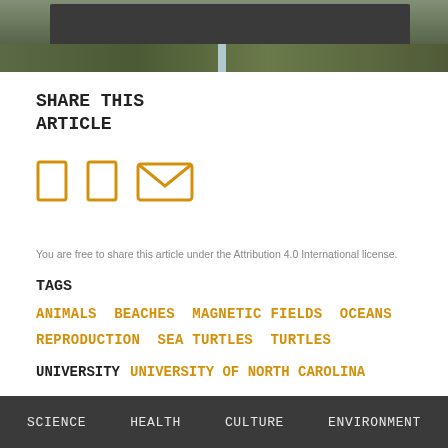[Figure (photo): Outdoor nature photo showing grass and stakes on a beach/sandy area, with a dark overlay bar obscuring part of the top area.]
SHARE THIS ARTICLE
[Figure (illustration): Three social sharing icons: two rectangle/box icons and one envelope/email icon, all in orange/gold color.]
You are free to share this article under the Attribution 4.0 International license.
TAGS
ANIMALS BEACHES MAGNETIC FIELDS OCEANS
REPRODUCTION SEA TURTLES TURTLES
UNIVERSITY  UNIVERSITY OF NORTH CAROLINA
SCIENCE    HEALTH    CULTURE    ENVIRONMENT